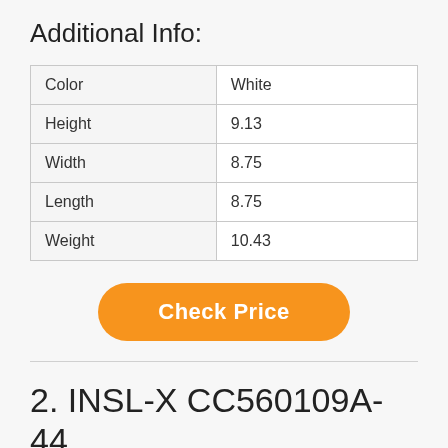Additional Info:
| Color | White |
| Height | 9.13 |
| Width | 8.75 |
| Length | 8.75 |
| Weight | 10.43 |
[Figure (other): Orange rounded button with white bold text reading 'Check Price']
2. INSL-X CC560109A-44 Cabinet Coat-Semi-